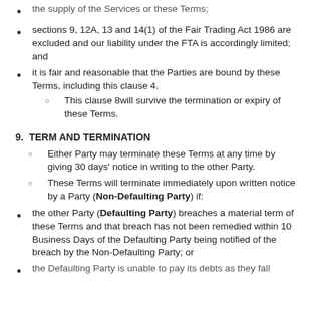the supply of the Services or these Terms;
sections 9, 12A, 13 and 14(1) of the Fair Trading Act 1986 are excluded and our liability under the FTA is accordingly limited; and
it is fair and reasonable that the Parties are bound by these Terms, including this clause 4.
This clause 8will survive the termination or expiry of these Terms.
9. TERM AND TERMINATION
Either Party may terminate these Terms at any time by giving 30 days' notice in writing to the other Party.
These Terms will terminate immediately upon written notice by a Party (Non-Defaulting Party) if:
the other Party (Defaulting Party) breaches a material term of these Terms and that breach has not been remedied within 10 Business Days of the Defaulting Party being notified of the breach by the Non-Defaulting Party; or
the Defaulting Party is unable to pay its debts as they fall